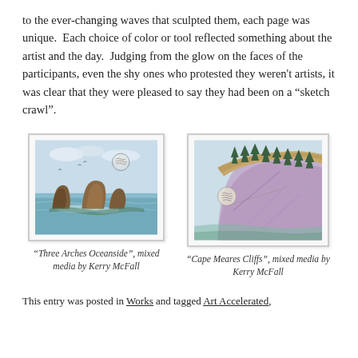to the ever-changing waves that sculpted them, each page was unique. Each choice of color or tool reflected something about the artist and the day. Judging from the glow on the faces of the participants, even the shy ones who protested they weren't artists, it was clear that they were pleased to say they had been on a “sketch crawl”.
[Figure (illustration): Watercolor and mixed media painting titled 'Three Arches Oceanside' showing rocky sea stacks in ocean water with birds and a sun/moon in the sky.]
“Three Arches Oceanside”, mixed media by Kerry McFall
[Figure (illustration): Watercolor and mixed media painting titled 'Cape Meares Cliffs' showing a cliff face with evergreen trees on top and a signature medallion on the left side.]
“Cape Meares Cliffs”, mixed media by Kerry McFall
This entry was posted in Works and tagged Art Accelerated,